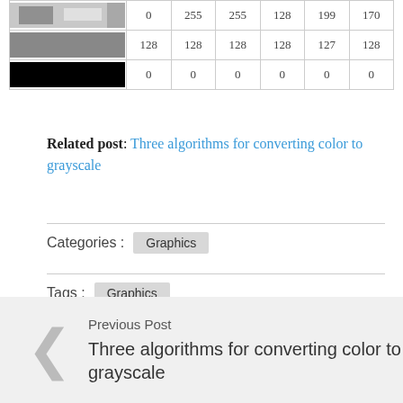[Figure (table-as-image): Pixel color grid showing rows of grayscale color swatches alongside numeric values (0, 255, 128, etc.)]
|  |  |  |  |  |  |  |
| --- | --- | --- | --- | --- | --- | --- |
| [image] | 0 | 255 | 255 | 128 | 199 | 170 |
| [image] | 128 | 128 | 128 | 128 | 127 | 128 |
| [image] | 0 | 0 | 0 | 0 | 0 | 0 |
Related post: Three algorithms for converting color to grayscale
Categories : Graphics
Tags : Graphics
Bookmark the permalink
Previous Post
Three algorithms for converting color to grayscale